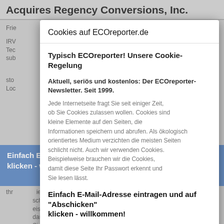Acquires Regency Conversions, Inc.
Frie...
IRV... Tec... sub... xas... on... sto...
[Figure (screenshot): Cookie consent dialog overlay on ECOreporter.de website. Dialog contains: header 'Cookies auf ECOreporter.de', bold text 'Typisch ECOreporter! Unsere Cookie-Regelung', newsletter subscription prompt 'Aktuell, seriös und kostenlos: Der ECOreporter-Newsletter. Seit 1999.', cookie explanation text, email input field, blue 'Abschicken' button, 'Alle akzeptieren' and 'Einstellungen' buttons, and red 'Nicht mehr anzeigen' button. Behind the dialog is a blue highlighted band with text 'Einfach E-Mail-Adresse eintragen und auf Abschicken klicken - willkommen!']
Cookies auf ECOreporter.de
Typisch ECOreporter! Unsere Cookie-Regelung
Aktuell, seriös und kostenlos: Der ECOreporter-Newsletter. Seit 1999.
Jede Internetseite fragt Sie seit einiger Zeit, ob Sie Cookies zulassen wollen. Cookies sind kleine Elemente auf den Seiten, die Informationen speichern und abrufen. Als ökologisch orientiertes Medium verzichten die meisten Seiten schlicht nicht. Auch wir verwenden Cookies. Beispielweise brauchen wir die Cookies, damit diese Seite Ihr Passwort erkennt und Sie lesen lässt.
Einfach E-Mail-Adresse eintragen und auf "Abschicken" klicken - willkommen!
E-Mail Adresse
Abschicken
Alle akzeptieren
Einstellungen
Nicht mehr anzeigen